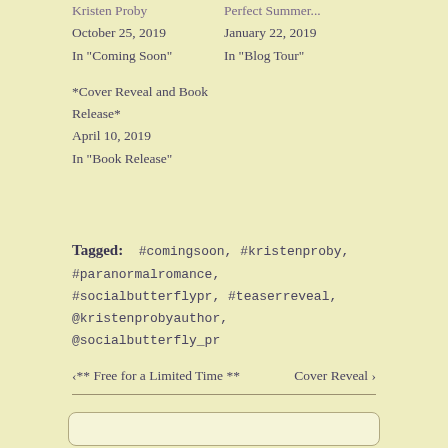Kristen Proby
October 25, 2019
In "Coming Soon"
Perfect Summer...
January 22, 2019
In "Blog Tour"
*Cover Reveal and Book Release*
April 10, 2019
In "Book Release"
Tagged: #comingsoon, #kristenproby, #paranormalromance, #socialbutterflypr, #teaserreveal, @kristenprobyauthor, @socialbutterfly_pr
< ** Free for a Limited Time **
Cover Reveal >